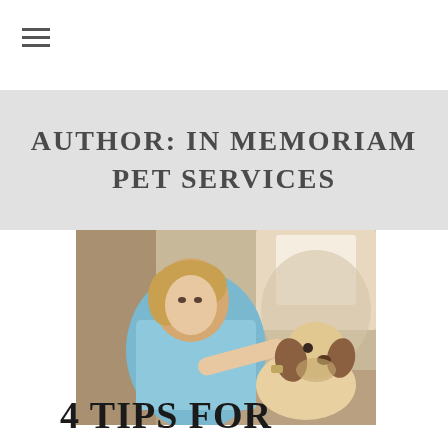☰ (hamburger menu icon)
AUTHOR: IN MEMORIAM PET SERVICES
[Figure (photo): A woman with short blonde hair wearing a light blue top feeds or pets a beagle dog in a bright indoor setting]
4 TIPS FOR